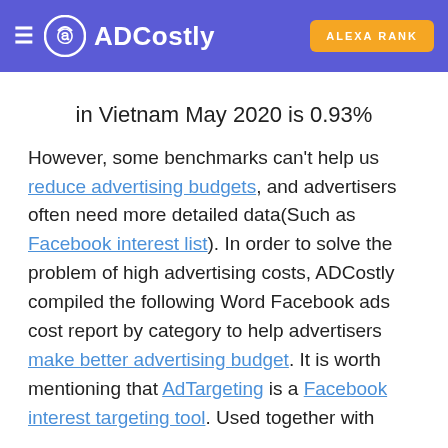ADCostly | ALEXA RANK
in Vietnam May 2020 is 0.93%
However, some benchmarks can't help us reduce advertising budgets, and advertisers often need more detailed data(Such as Facebook interest list). In order to solve the problem of high advertising costs, ADCostly compiled the following Word Facebook ads cost report by category to help advertisers make better advertising budget. It is worth mentioning that AdTargeting is a Facebook interest targeting tool. Used together with